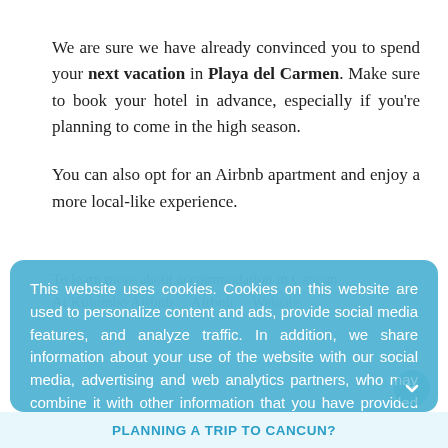We are sure we have already convinced you to spend your next vacation in Playa del Carmen. Make sure to book your hotel in advance, especially if you're planning to come in the high season.
You can also opt for an Airbnb apartment and enjoy a more local-like experience.
This website uses cookies. Cookies on this website are used to personalize content and ads, provide social media features, and analyze traffic. In addition, we share information about your use of the website with our social media, advertising and web analytics partners, who may combine it with other information that you have provided to them or that they have collected from your use of their services.
Accept Cookies
PLANNING A TRIP TO CANCUN?